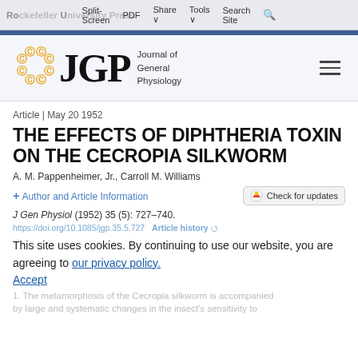Rockefeller University Press | Split-Screen  PDF  Share  Tools  Search Site
[Figure (logo): JGP Journal of General Physiology logo with golden flower/circular ornament and large JGP serif letters]
Article | May 20 1952
THE EFFECTS OF DIPHTHERIA TOXIN ON THE CECROPIA SILKWORM
A. M. Pappenheimer, Jr., Carroll M. Williams
+ Author and Article Information
J Gen Physiol (1952) 35 (5): 727–740.
https://doi.org/10.1085/jgp.35.5.727   Article history
This site uses cookies. By continuing to use our website, you are agreeing to our privacy policy. Accept
1. The metamorphosis of the Cecropia silkworm is accompanied by large and systematic changes in the insect's sensitivity to